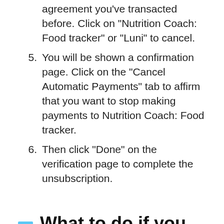agreement you've transacted before. Click on "Nutrition Coach: Food tracker" or "Luni" to cancel.
5. You will be shown a confirmation page. Click on the "Cancel Automatic Payments" tab to affirm that you want to stop making payments to Nutrition Coach: Food tracker.
6. Then click "Done" on the verification page to complete the unsubscription.
What to do if you subscribed directly on Nutrition Coach's website?